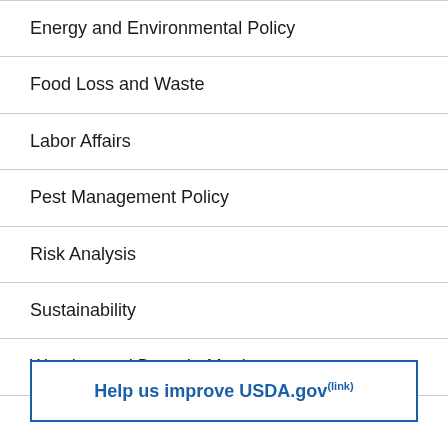Energy and Environmental Policy
Food Loss and Waste
Labor Affairs
Pest Management Policy
Risk Analysis
Sustainability
Weather and Drought Monitor
Help us improve USDA.gov